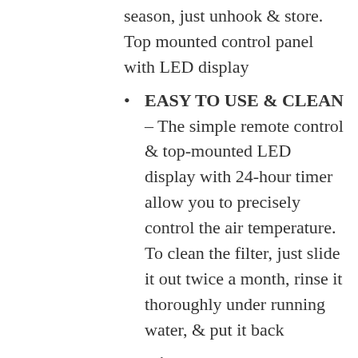season, just unhook & store. Top mounted control panel with LED display
EASY TO USE & CLEAN – The simple remote control & top-mounted LED display with 24-hour timer allow you to precisely control the air temperature. To clean the filter, just slide it out twice a month, rinse it thoroughly under running water, & put it back
3-in-1 FUNCTIONALITY – Combines 3 energy efficient functions for all of your cooling & ventilation needs with cool, fan, & dehumidifying modes all in